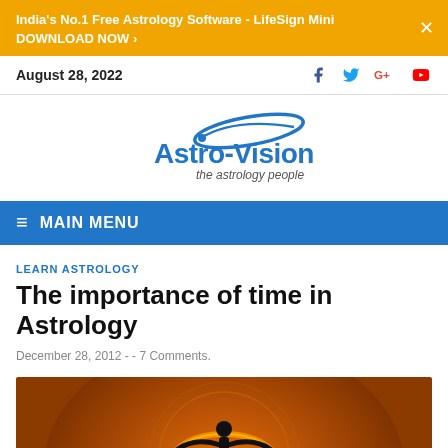India's No.1 Free Astrology Software - LifeSign Mini
DOWNLOAD NOW ›
August 28, 2022
[Figure (logo): Astro-Vision logo with blue swoosh and tagline 'the astrology people']
≡ MAIN MENU
LEARN ASTROLOGY
The importance of time in Astrology
December 28, 2012 -  - 7 Comments.
[Figure (photo): A silhouette of a person with arms raised against a glowing orange zodiac wheel background]